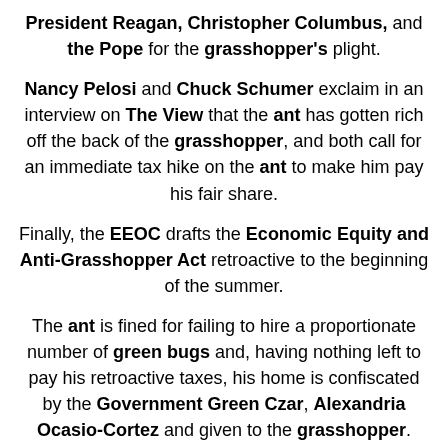President Reagan, Christopher Columbus, and the Pope for the grasshopper's plight.
Nancy Pelosi and Chuck Schumer exclaim in an interview on The View that the ant has gotten rich off the back of the grasshopper, and both call for an immediate tax hike on the ant to make him pay his fair share.
Finally, the EEOC drafts the Economic Equity and Anti-Grasshopper Act retroactive to the beginning of the summer.
The ant is fined for failing to hire a proportionate number of green bugs and, having nothing left to pay his retroactive taxes, his home is confiscated by the Government Green Czar, Alexandria Ocasio-Cortez and given to the grasshopper.